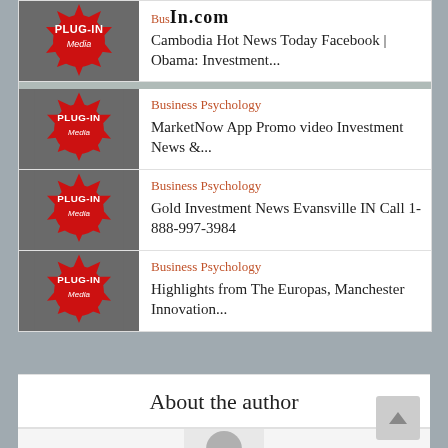[Figure (screenshot): Plug-In Media thumbnail badge - red starburst logo with PLUG-IN Media text, gray background, partial view at top]
Cambodia Hot News Today Facebook | Obama: Investment...
[Figure (screenshot): Plug-In Media thumbnail badge - red starburst logo with PLUG-IN Media text, gray background]
Business Psychology
MarketNow App Promo video Investment News &...
[Figure (screenshot): Plug-In Media thumbnail badge - red starburst logo with PLUG-IN Media text, gray background]
Business Psychology
Gold Investment News Evansville IN Call 1-888-997-3984
[Figure (screenshot): Plug-In Media thumbnail badge - red starburst logo with PLUG-IN Media text, gray background]
Business Psychology
Highlights from The Europas, Manchester Innovation...
About the author
[Figure (photo): Author profile photo placeholder - gray silhouette on light background, partially visible]